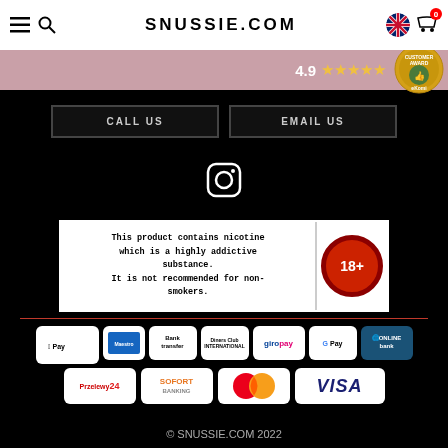SNUSSIE.COM
[Figure (infographic): Pink rating banner showing 4.9 stars and eKomi Customer Award badge]
CALL US    EMAIL US
[Figure (logo): Instagram icon (circle with square camera shape inside)]
This product contains nicotine which is a highly addictive substance. It is not recommended for non-smokers.
[Figure (infographic): 18+ age restriction badge (red circle with 18+ text)]
[Figure (infographic): Payment method logos: Apple Pay, Mastercard, Bank Transfer, Diners Club, Giropay, Google Pay, Online, Przelewy24, SOFORT, Mastercard, VISA]
© SNUSSIE.COM 2022